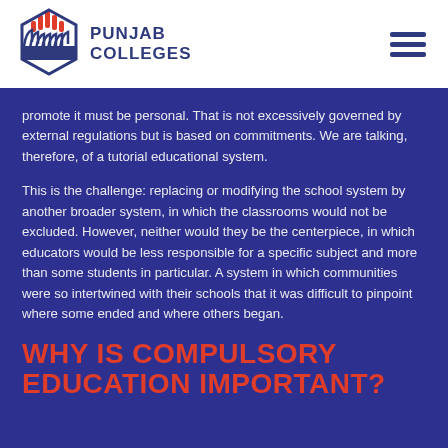[Figure (logo): Punjab Colleges logo with stylized hand/building icon in red and blue, with text PUNJAB COLLEGES]
promote it must be personal. That is not excessively governed by external regulations but is based on commitments. We are talking, therefore, of a tutorial educational system.
This is the challenge: replacing or modifying the school system by another broader system, in which the classrooms would not be excluded. However, neither would they be the centerpiece, in which educators would be less responsible for a specific subject and more than some students in particular. A system in which communities were so intertwined with their schools that it was difficult to pinpoint where some ended and where others began.
WHY IS COMPULSORY EDUCATION IMPORTANT?